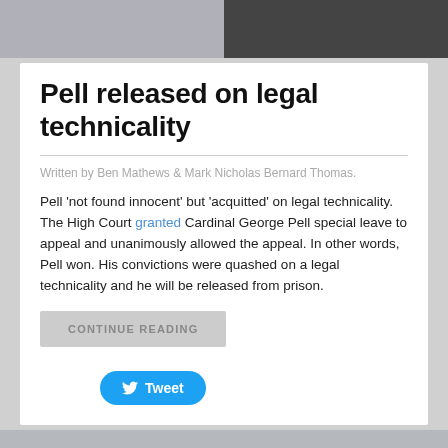[Figure (photo): Two-panel image at top: left side shows a book cover or light-colored item, right side shows a person in dark clerical clothing]
Pell released on legal technicality
Written by Ben Mathews & Mark Nicholas Bernard Thomas.
Pell 'not found innocent' but 'acquitted' on legal technicality. The High Court granted Cardinal George Pell special leave to appeal and unanimously allowed the appeal. In other words, Pell won. His convictions were quashed on a legal technicality and he will be released from prison.
[Figure (photo): Bottom partial image showing a person, cropped at page bottom]